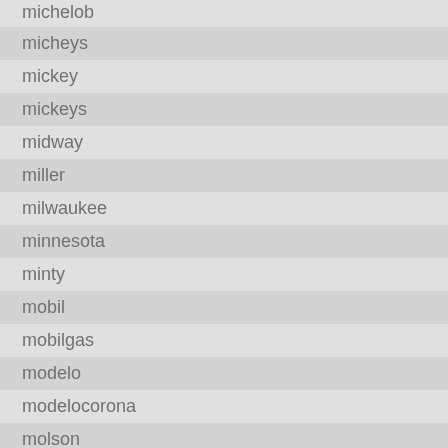michelob
micheys
mickey
mickeys
midway
miller
milwaukee
minnesota
minty
mobil
mobilgas
modelo
modelocorona
molson
monster